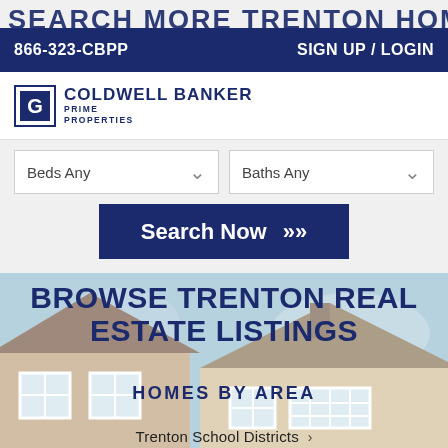SEARCH MORE TRENTON HOMES
866-323-CBPP
SIGN UP / LOGIN
[Figure (logo): Coldwell Banker Prime Properties logo with CB icon and hamburger menu]
Beds Any
Baths Any
Search Now >>
[Figure (photo): Photo of a house exterior with tan/beige siding, white trim windows, and blue sky with trees]
BROWSE TRENTON REAL ESTATE LISTINGS
HOMES BY AREA
Trenton School Districts >